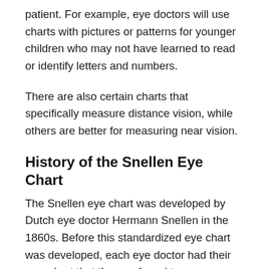patient. For example, eye doctors will use charts with pictures or patterns for younger children who may not have learned to read or identify letters and numbers.
There are also certain charts that specifically measure distance vision, while others are better for measuring near vision.
History of the Snellen Eye Chart
The Snellen eye chart was developed by Dutch eye doctor Hermann Snellen in the 1860s. Before this standardized eye chart was developed, each eye doctor had their own chart that they preferred to use.
Having so many different eye charts made it impossible to standardize the vision correction available to patients. Eyeglass makers didn't receive